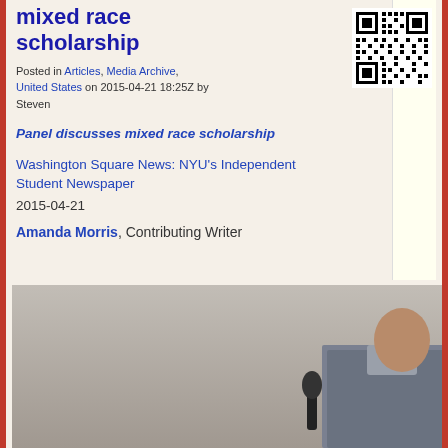mixed race scholarship
Posted in Articles, Media Archive, United States on 2015-04-21 18:25Z by Steven
[Figure (other): QR code for the article]
Panel discusses mixed race scholarship
Washington Square News: NYU’s Independent Student Newspaper
2015-04-21
Amanda Morris, Contributing Writer
[Figure (photo): A person speaking at a podium or panel, holding a microphone, wearing a checkered shirt, photographed against a neutral wall background]